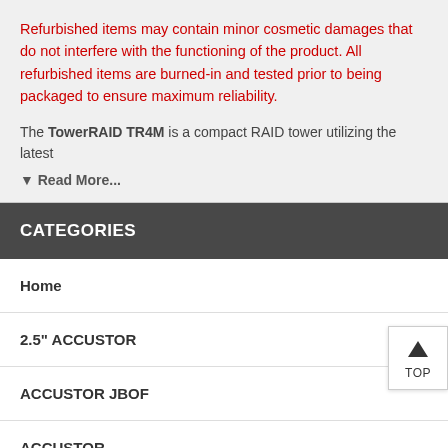Refurbished items may contain minor cosmetic damages that do not interfere with the functioning of the product. All refurbished items are burned-in and tested prior to being packaged to ensure maximum reliability.
The TowerRAID TR4M is a compact RAID tower utilizing the latest
▼ Read More...
CATEGORIES
Home
2.5" ACCUSTOR
ACCUSTOR JBOF
ACCUSTOR